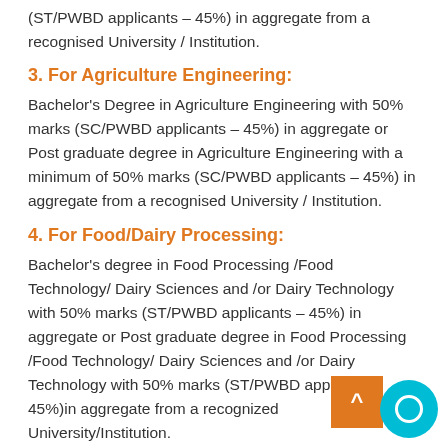(ST/PWBD applicants – 45%) in aggregate from a recognised University / Institution.
3. For Agriculture Engineering:
Bachelor's Degree in Agriculture Engineering with 50% marks (SC/PWBD applicants – 45%) in aggregate or Post graduate degree in Agriculture Engineering with a minimum of 50% marks (SC/PWBD applicants – 45%) in aggregate from a recognised University / Institution.
4. For Food/Dairy Processing:
Bachelor's degree in Food Processing /Food Technology/ Dairy Sciences and /or Dairy Technology with 50% marks (ST/PWBD applicants – 45%) in aggregate or Post graduate degree in Food Processing /Food Technology/ Dairy Sciences and /or Dairy Technology with 50% marks (ST/PWBD applicants – 45%)in aggregate from a recognized University/Institution.